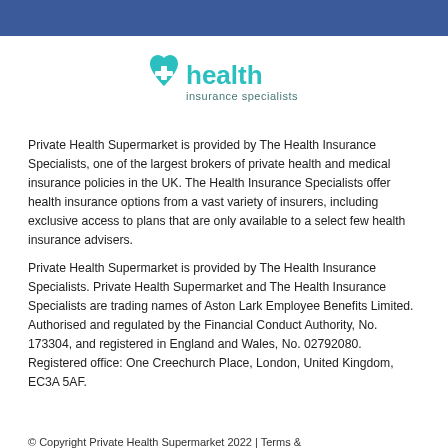[Figure (logo): Health Insurance Specialists logo — teal heart with a plus/cross symbol and the word 'health' in teal, 'insurance specialists' in smaller dark teal text beneath]
Private Health Supermarket is provided by The Health Insurance Specialists, one of the largest brokers of private health and medical insurance policies in the UK. The Health Insurance Specialists offer health insurance options from a vast variety of insurers, including exclusive access to plans that are only available to a select few health insurance advisers.
Private Health Supermarket is provided by The Health Insurance Specialists. Private Health Supermarket and The Health Insurance Specialists are trading names of Aston Lark Employee Benefits Limited. Authorised and regulated by the Financial Conduct Authority, No. 173304, and registered in England and Wales, No. 02792080. Registered office: One Creechurch Place, London, United Kingdom, EC3A 5AF.
© Copyright Private Health Supermarket 2022 | Terms &